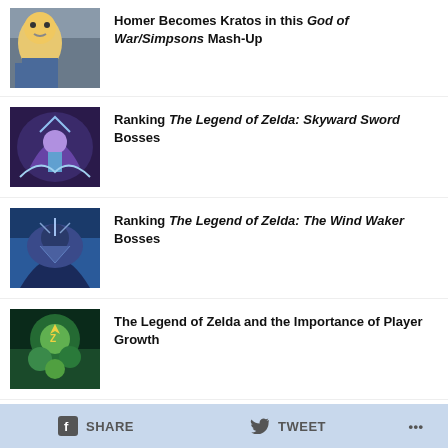Homer Becomes Kratos in this God of War/Simpsons Mash-Up
Ranking The Legend of Zelda: Skyward Sword Bosses
Ranking The Legend of Zelda: The Wind Waker Bosses
The Legend of Zelda and the Importance of Player Growth
Game Boys, Ep. 283: I'm Getting Too Old for
SHARE   TWEET   ...